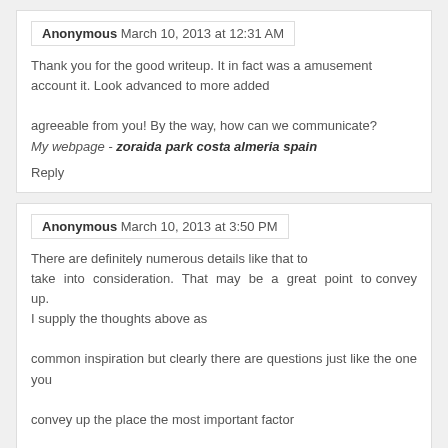Anonymous March 10, 2013 at 12:31 AM
Thank you for the good writeup. It in fact was a amusement account it. Look advanced to more added agreeable from you! By the way, how can we communicate?
My webpage - zoraida park costa almeria spain
Reply
Anonymous March 10, 2013 at 3:50 PM
There are definitely numerous details like that to take into consideration. That may be a great point to convey up. I supply the thoughts above as common inspiration but clearly there are questions just like the one you convey up the place the most important factor can be working in sincere good faith. I don?t know if greatest practices have emerged around things like that.